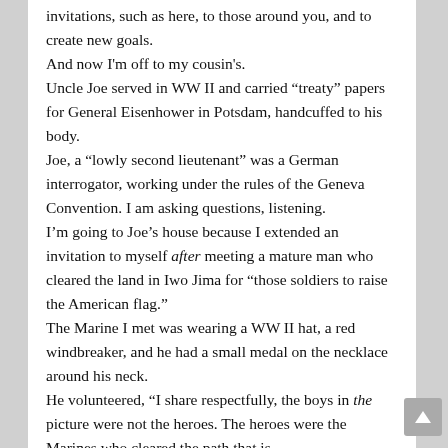invitations, such as here, to those around you, and to create new goals.
And now I'm off to my cousin's.
Uncle Joe served in WW II and carried “treaty” papers for General Eisenhower in Potsdam, handcuffed to his body.
Joe, a “lowly second lieutenant” was a German interrogator, working under the rules of the Geneva Convention. I am asking questions, listening.
I’m going to Joe’s house because I extended an invitation to myself after meeting a mature man who cleared the land in Iwo Jima for “those soldiers to raise the American flag.”
The Marine I met was wearing a WW II hat, a red windbreaker, and he had a small medal on the necklace around his neck.
He volunteered, “I share respectfully, the boys in the picture were not the heroes. The heroes were the Marines who cleared the path that...